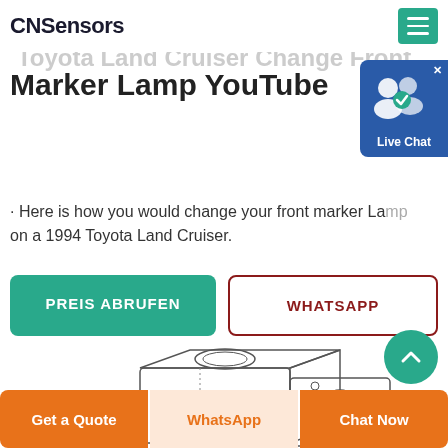CNSensors
Marker Lamp YouTube
· Here is how you would change your front marker Lamp on a 1994 Toyota Land Cruiser.
PREIS ABRUFEN
WHATSAPP
[Figure (illustration): Technical line drawing of a block-shaped sensor/camera device with circular lens and mounting features]
Get a Quote
WhatsApp
Chat Now